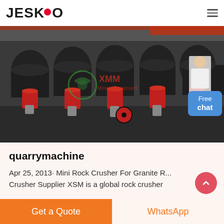JESCO
[Figure (photo): Industrial mining crusher machines in a warehouse — multiple red and black cone crusher units lined up in a row, with a 'Free chat' button overlay and a customer service person in the top right. Watermark text reads 'XMM Mining Equipment'.]
quarrymachine
Apr 25, 2013· Mini Rock Crusher For Granite R... Crusher Supplier XSM is a global rock crusher
Get a Quote | WhatsApp